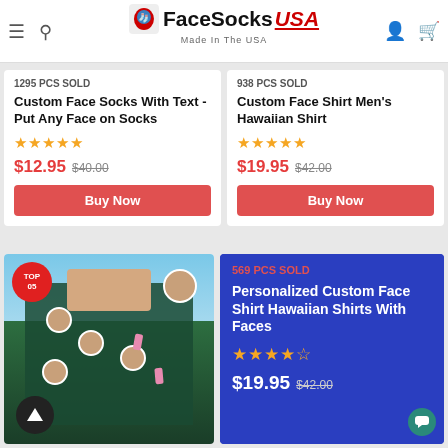FaceSocks USA - Made In The USA
1295 PCS SOLD
Custom Face Socks With Text -Put Any Face on Socks
★★★★★
$12.95 $40.00
Buy Now
938 PCS SOLD
Custom Face Shirt Men's Hawaiian Shirt
★★★★★
$19.95 $42.00
Buy Now
[Figure (photo): Man wearing custom face Hawaiian shirt with flamingos and tropical patterns, face repeated multiple times on shirt fabric]
TOP 05
569 PCS SOLD
Personalized Custom Face Shirt Hawaiian Shirts With Faces
★★★★☆
$19.95 $42.00